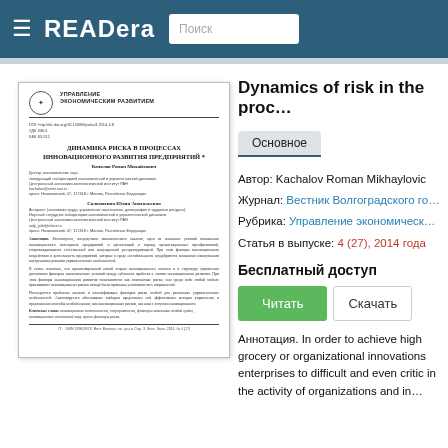READera  Поиск
[Figure (screenshot): Thumbnail of a Russian academic journal article page titled 'Динамика риска в процессах инновационного развития предприятий' from Управление экономическим развитием journal]
Dynamics of risk in the proc…
Основное
Автор: Kachalov Roman Mikhaylovic
Журнал: Вестник Волгоградского го…
Рубрика: Управление экономическ…
Статья в выпуске: 4 (27), 2014 года
Бесплатный доступ
Читать    Скачать
Аннотация. In order to achieve high grocery or organizational innovations enterprises to difficult and even critic in the activity of organizations and in…